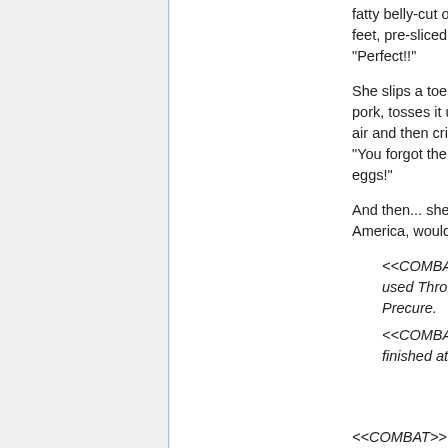fatty belly-cut of pork spills out at her feet, pre-sliced for inclusion, she says, "Perfect!!"
She slips a toe underneath the sliced pork, tosses it up, snatches it out of the air and then cries towards the X-Chara, "You forgot the perfect complement to eggs!"
And then... she throws what, in America, would be called bacon.
<<COMBAT>> Erika Inagawa has used Thrown Bacon on Dark Precure.
<<COMBAT>> Erika Inagawa has finished attacking.
<<COMBAT>> COMBOF INISHER!